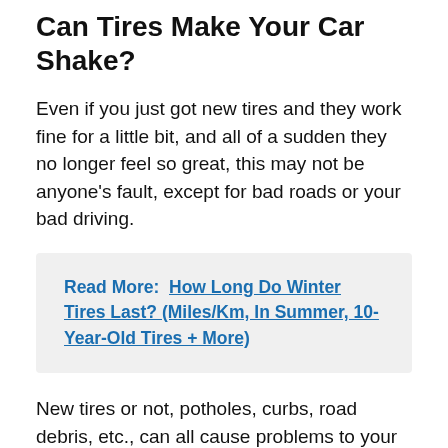Can Tires Make Your Car Shake?
Even if you just got new tires and they work fine for a little bit, and all of a sudden they no longer feel so great, this may not be anyone's fault, except for bad roads or your bad driving.
Read More:  How Long Do Winter Tires Last? (Miles/Km, In Summer, 10-Year-Old Tires + More)
New tires or not, potholes, curbs, road debris, etc., can all cause problems to your car's tires, and can also cause it to run down.